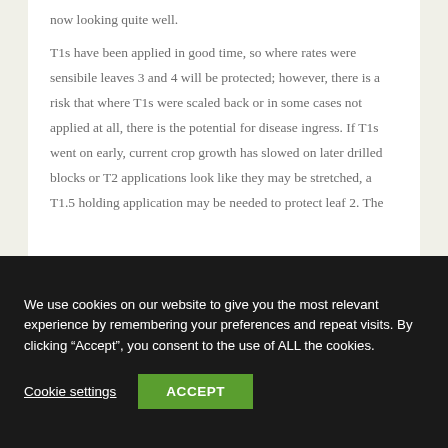now looking quite well.
T1s have been applied in good time, so where rates were sensibile leaves 3 and 4 will be protected; however, there is a risk that where T1s were scaled back or in some cases not applied at all, there is the potential for disease ingress. If T1s went on early, current crop growth has slowed on later drilled blocks or T2 applications look like they may be stretched, a T1.5 holding application may be needed to protect leaf 2. The
We use cookies on our website to give you the most relevant experience by remembering your preferences and repeat visits. By clicking “Accept”, you consent to the use of ALL the cookies.
Cookie settings
ACCEPT